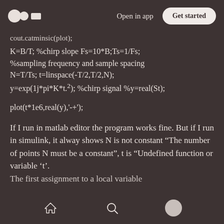Medium logo | Open in app | Get started
cout.catminsic(plot);
If I run in matlab editor the program works fine. But if I run in simulink, it alway shows N is not constant “The number of points N must be a constant”, t is “Undefined function or variable ‘t’. The first assignment to a local variable
Home | Search | Profile